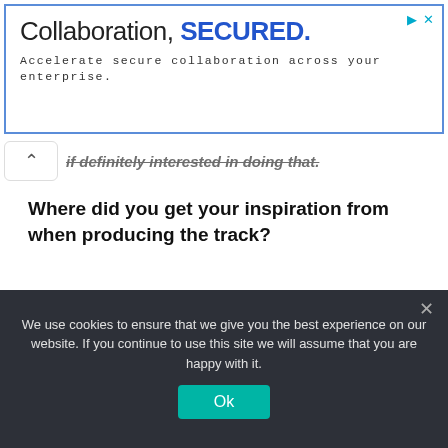[Figure (screenshot): Advertisement banner with blue border. Text reads 'Collaboration, SECURED.' with 'SECURED.' in bold blue. Subtitle: 'Accelerate secure collaboration across your enterprise.' Icons for play and close in top-right corner.]
if definitely interested in doing that.
Where did you get your inspiration from when producing the track?
I get inspiration from all the sounds and ideas that come into my head.
Can we expect a follow up single to 'Ice Cream' in a similar style?
We use cookies to ensure that we give you the best experience on our website. If you continue to use this site we will assume that you are happy with it.